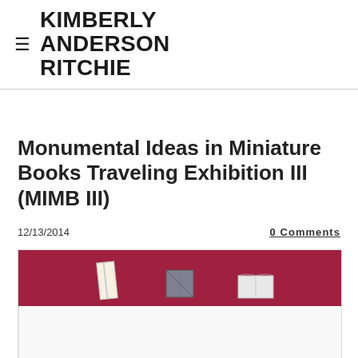KIMBERLY ANDERSON RITCHIE
Monumental Ideas in Miniature Books Traveling Exhibition III (MIMB III)
12/13/2014
0 Comments
[Figure (photo): Photo of miniature books displayed against a dark red/crimson background, showing several small books propped up and open]